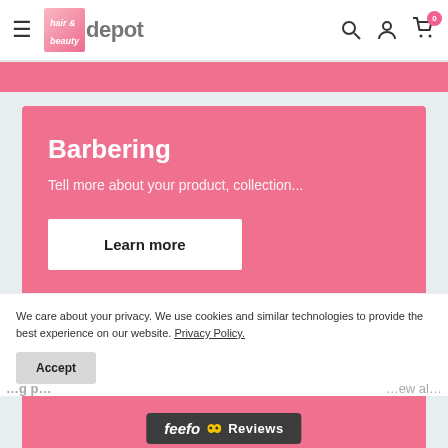hair & beauty depot — navigation header with search, account, and cart icons
[Figure (screenshot): Pink promotional banner strip at top of page content area]
Barbering
Tell more about your product, collection...
Learn more
We care about your privacy. We use cookies and similar technologies to provide the best experience on our website. Privacy Policy.
Accept
[Figure (logo): Feefo Reviews badge — dark grey bar with Feefo logo, yellow eyes icon, and Reviews text]
...g p...  ...ew al...